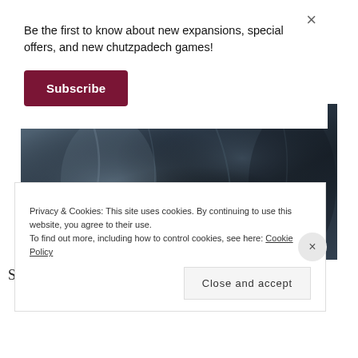Be the first to know about new expansions, special offers, and new chutzpadech games!
Subscribe
[Figure (photo): Dark draped fabric or cloak texture, close-up photograph with dark teal/blue-grey tones]
So it's kind of like my own exodus
Privacy & Cookies: This site uses cookies. By continuing to use this website, you agree to their use.
To find out more, including how to control cookies, see here: Cookie Policy
Close and accept